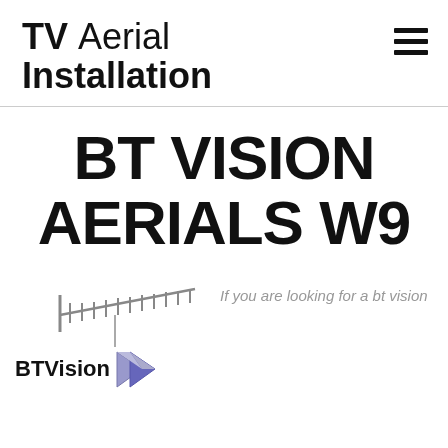TV Aerial Installation
BT VISION AERIALS W9
[Figure (logo): TV aerial graphic above BT Vision logo with chevron arrow icon]
If you are looking for a bt vision